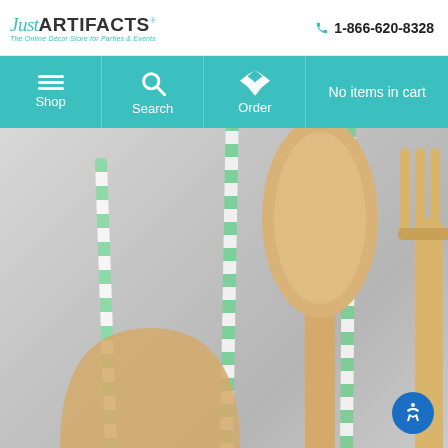Just ARTIFACTS® - The Online Décor Store for Parties & Events | 1-866-620-8328
[Figure (screenshot): Navigation bar with Shop, Search, Order icons and 'No items in cart' text on teal background]
[Figure (photo): Close-up photo of green and white striped paper straws alongside wooden cutlery (spoon and fork) on a light gray background]